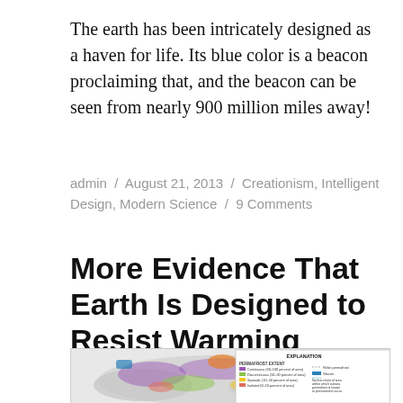The earth has been intricately designed as a haven for life. Its blue color is a beacon proclaiming that, and the beacon can be seen from nearly 900 million miles away!
admin / August 21, 2013 / Creationism, Intelligent Design, Modern Science / 9 Comments
More Evidence That Earth Is Designed to Resist Warming
[Figure (map): Permafrost extent map showing continuous, discontinuous, sporadic, isolated permafrost regions and other features including relict permafrost, glaciers, and northern limit of area within which subsea permafrost is known or presumed to occur.]